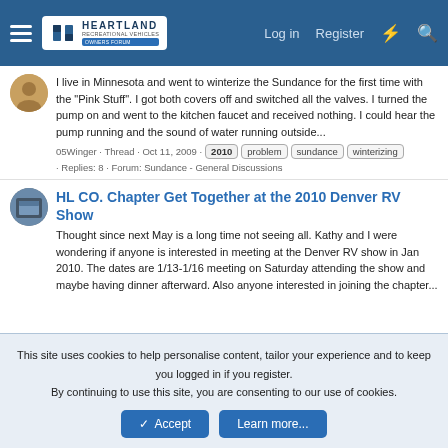Heartland Owners Forum | Log in | Register
I live in Minnesota and went to winterize the Sundance for the first time with the "Pink Stuff". I got both covers off and switched all the valves. I turned the pump on and went to the kitchen faucet and received nothing. I could hear the pump running and the sound of water running outside...
05Winger · Thread · Oct 11, 2009 · 2010 problem sundance winterizing · Replies: 8 · Forum: Sundance - General Discussions
HL CO. Chapter Get Together at the 2010 Denver RV Show
Thought since next May is a long time not seeing all. Kathy and I were wondering if anyone is interested in meeting at the Denver RV show in Jan 2010. The dates are 1/13-1/16 meeting on Saturday attending the show and maybe having dinner afterward. Also anyone interested in joining the chapter...
This site uses cookies to help personalise content, tailor your experience and to keep you logged in if you register.
By continuing to use this site, you are consenting to our use of cookies.